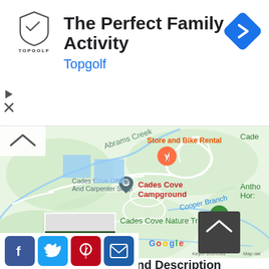[Figure (advertisement): Topgolf advertisement banner with shield logo, title 'The Perfect Family Activity', subtitle 'Topgolf', and a blue navigation arrow icon on the right]
[Figure (map): Google Maps screenshot showing Cades Cove area in what appears to be Great Smoky Mountains National Park. Shows Cades Cove Campground (red text), Store and Bike Rental (orange text with orange food marker), Cades Cove Offices And Carpenter Shop, Cades Cove Nature Trail (with green hiking marker), Abrams Creek, Cooper Branch, Fanny Branch waterways. White roads/paths on light green terrain background. Map thumbnail and up-arrow button visible at bottom.]
[Figure (infographic): Social media sharing buttons: Facebook (blue), Twitter (blue), Pinterest (red), Email (blue)]
Cades Cove Campground Description